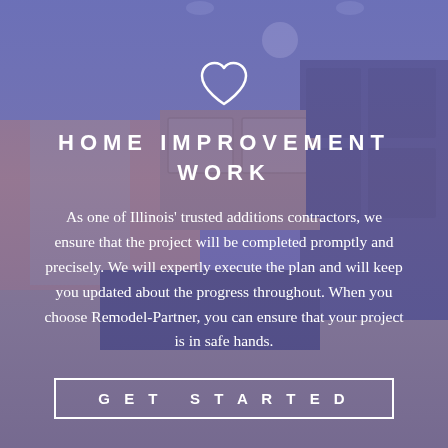[Figure (photo): Background photo of a home kitchen interior with wooden cabinets and hardwood floor, overlaid with a semi-transparent purple/blue tint]
HOME IMPROVEMENT WORK
As one of Illinois' trusted additions contractors, we ensure that the project will be completed promptly and precisely. We will expertly execute the plan and will keep you updated about the progress throughout. When you choose Remodel-Partner, you can ensure that your project is in safe hands.
GET STARTED